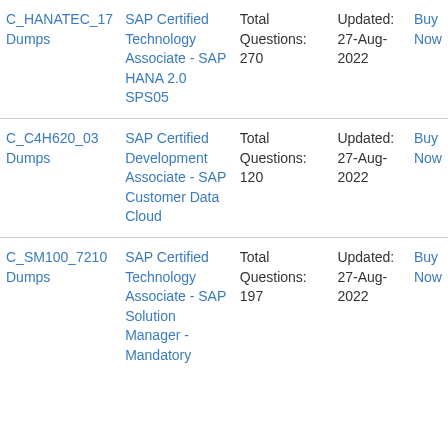| Exam | Description | Questions | Updated | Action |
| --- | --- | --- | --- | --- |
| C_HANATEC_17 Dumps | SAP Certified Technology Associate - SAP HANA 2.0 SPS05 | Total Questions: 270 | Updated: 27-Aug-2022 | Buy Now |
| C_C4H620_03 Dumps | SAP Certified Development Associate - SAP Customer Data Cloud | Total Questions: 120 | Updated: 27-Aug-2022 | Buy Now |
| C_SM100_7210 Dumps | SAP Certified Technology Associate - SAP Solution Manager - Mandatory | Total Questions: 197 | Updated: 27-Aug-2022 | Buy Now |